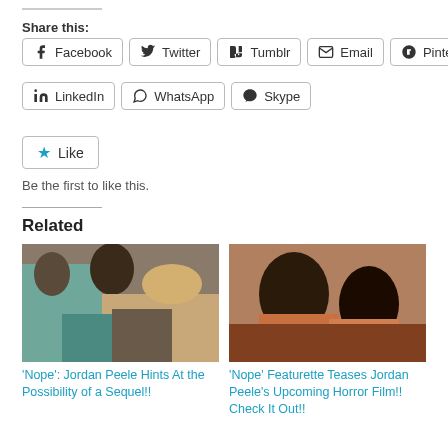Share this:
Facebook
Twitter
Tumblr
Email
Pinterest
LinkedIn
WhatsApp
Skype
Like
Be the first to like this.
Related
[Figure (photo): Still from 'Nope' film showing young people outdoors in a desert landscape]
‘Nope’: Jordan Peele Hints At the Possibility of a Sequel!!
[Figure (photo): Still from 'Nope' film showing two people indoors]
‘Nope’ Featurette Teases Jordan Peele’s Upcoming Horror Film!! Check It Out!!